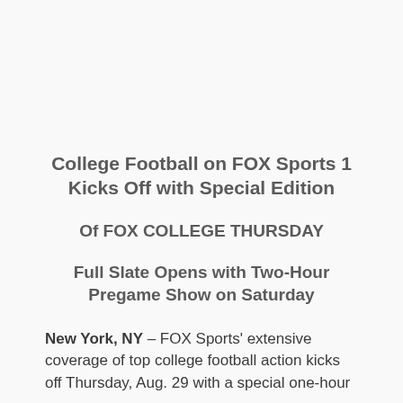College Football on FOX Sports 1 Kicks Off with Special Edition
Of FOX COLLEGE THURSDAY
Full Slate Opens with Two-Hour Pregame Show on Saturday
New York, NY – FOX Sports' extensive coverage of top college football action kicks off Thursday, Aug. 29 with a special one-hour